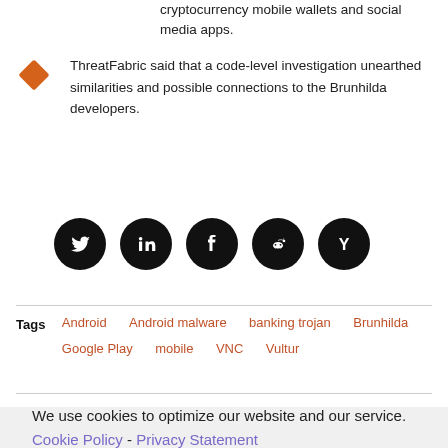cryptocurrency mobile wallets and social media apps.
ThreatFabric said that a code-level investigation unearthed similarities and possible connections to the Brunhilda developers.
[Figure (infographic): Row of five social media share buttons as black circles with white icons: Twitter, LinkedIn, Facebook, Reddit, Hacker News (Y)]
Tags  Android  Android malware  banking trojan  Brunhilda  Google Play  mobile  VNC  Vultur
We use cookies to optimize our website and our service. Cookie Policy - Privacy Statement